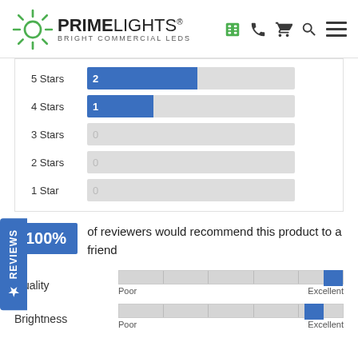[Figure (logo): PrimeLights logo with sun icon and text 'PRIME LIGHTS BRIGHT COMMERCIAL LEDS']
[Figure (bar-chart): Star ratings]
100% of reviewers would recommend this product to a friend
Quality — slider from Poor to Excellent
Brightness — slider from Poor to Excellent